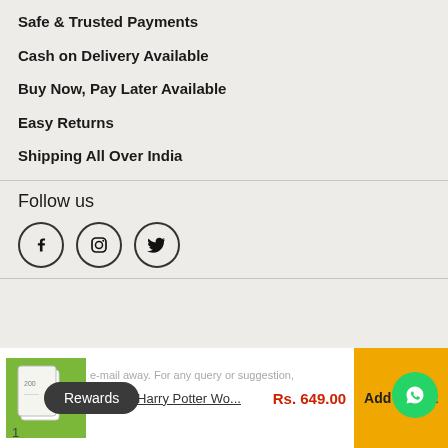Safe & Trusted Payments
Cash on Delivery Available
Buy Now, Pay Later Available
Easy Returns
Shipping All Over India
Follow us
[Figure (infographic): Social media icons: Facebook, Instagram, Twitter in circular borders]
Official Harry Potter Wo...  Rs. 649.00  Add to cart
Rewards
1